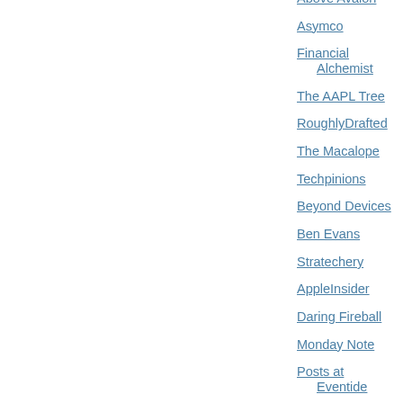Above Avalon
Asymco
Financial Alchemist
The AAPL Tree
RoughlyDrafted
The Macalope
Techpinions
Beyond Devices
Ben Evans
Stratechery
AppleInsider
Daring Fireball
Monday Note
Posts at Eventide
CounterNotions